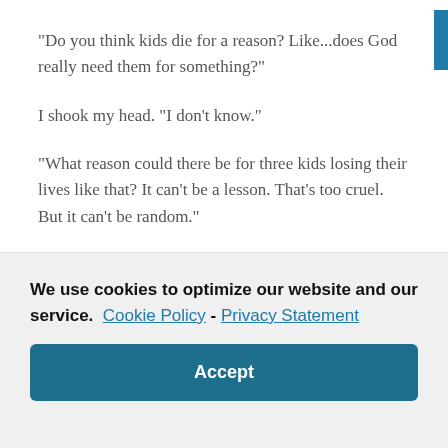“Do you think kids die for a reason? Like…does God really need them for something?”
I shook my head. “I don’t know.”
“What reason could there be for three kids losing their lives like that? It can’t be a lesson. That’s too cruel. But it can’t be random.”
We use cookies to optimize our website and our service.  Cookie Policy  -  Privacy Statement
Accept